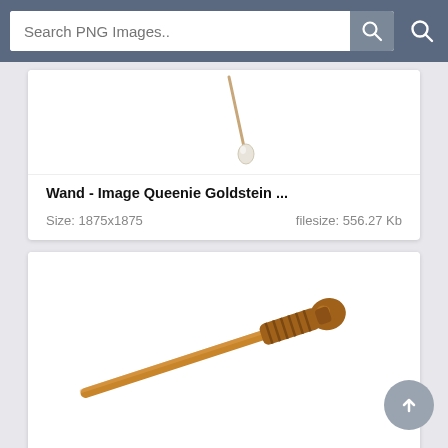Search PNG Images..
[Figure (screenshot): Partial view of a wand image (Queenie Goldstein wand) from a PNG image search results page, showing the tip of a thin wand with a crystal end against white background]
Wand - Image Queenie Goldstein ...
Size: 1875x1875    filesize: 556.27 Kb
[Figure (photo): A wooden magic wand with a wrapped handle grip area and round knob end, light brown/tan color, photographed against white background]
Wand - File:frejahleighton Mbwr W...
Size: 532x236    filesize: 56.59 Kb